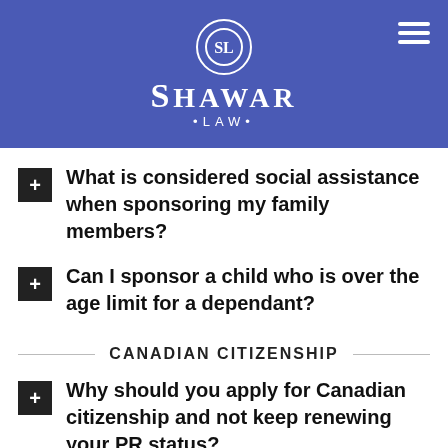SHAWAR LAW
What is considered social assistance when sponsoring my family members?
Can I sponsor a child who is over the age limit for a dependant?
CANADIAN CITIZENSHIP
Why should you apply for Canadian citizenship and not keep renewing your PR status?
What are the requirements for becoming a Canadian citizen?